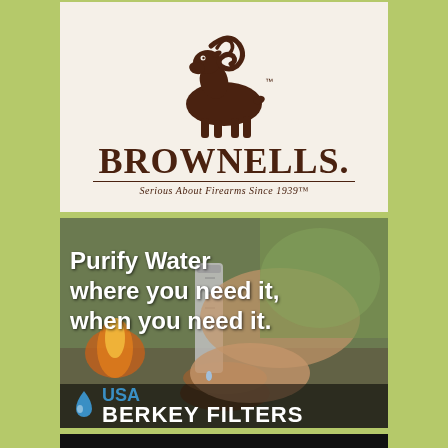[Figure (logo): Brownells logo featuring a bighorn ram illustration above the BROWNELLS wordmark and tagline 'Serious About Firearms Since 1939']
[Figure (photo): USA Berkey Filters advertisement showing a man using a water filtration system outdoors near a fire, with text 'Purify Water where you need it, when you need it.' and the USA Berkey Filters logo at the bottom]
[Figure (photo): Partial advertisement showing the word 'DAILY' in large white text on a dark background]